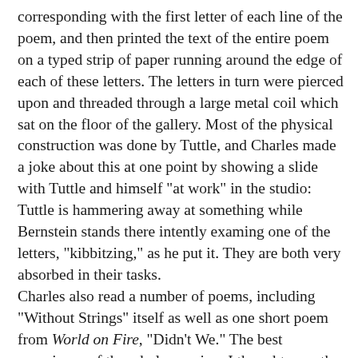corresponding with the first letter of each line of the poem, and then printed the text of the entire poem on a typed strip of paper running around the edge of each of these letters. The letters in turn were pierced upon and threaded through a large metal coil which sat on the floor of the gallery. Most of the physical construction was done by Tuttle, and Charles made a joke about this at one point by showing a slide with Tuttle and himself "at work" in the studio: Tuttle is hammering away at something while Bernstein stands there intently examing one of the letters, "kibbitzing," as he put it. They are both very absorbed in their tasks.
Charles also read a number of poems, including "Without Strings" itself as well as one short poem from World on Fire, "Didn't We." The best experience of the whole evening, I thought, was the second half of the reading: Charles read two dramatic and very moving long